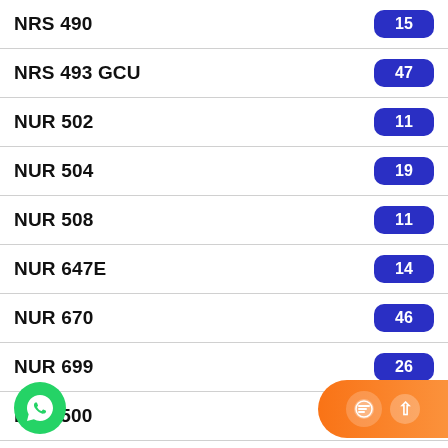NRS 490
NRS 493 GCU
NUR 502
NUR 504
NUR 508
NUR 647E
NUR 670
NUR 699
PCN 500
PCN 501
PCN 520